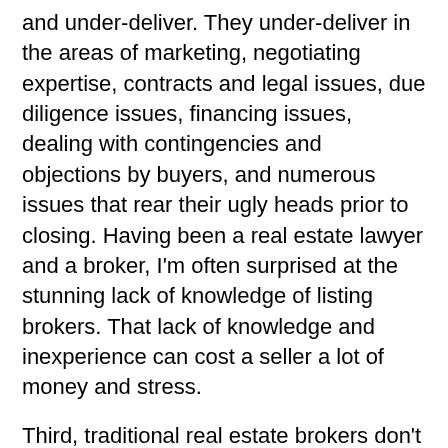and under-deliver. They under-deliver in the areas of marketing, negotiating expertise, contracts and legal issues, due diligence issues, financing issues, dealing with contingencies and objections by buyers, and numerous issues that rear their ugly heads prior to closing. Having been a real estate lawyer and a broker, I'm often surprised at the stunning lack of knowledge of listing brokers. That lack of knowledge and inexperience can cost a seller a lot of money and stress.
Third, traditional real estate brokers don't do much more than put a listing in the MLS and wait until it sells. I know that because that's the number one complaint from home sellers I've been hearing for decades. It's an old complaint, but still valid today.
Fourth, the entire world of marketing and advertising has dramatically changed over the last decade, and the traditional bricks and mortar